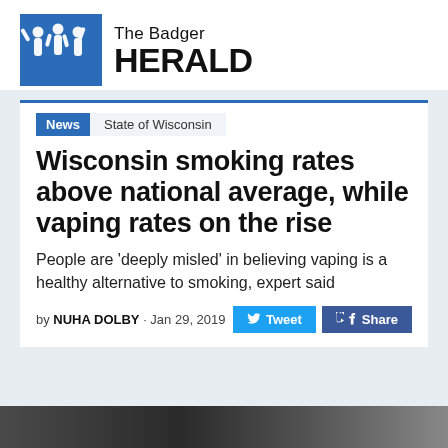[Figure (logo): The Badger Herald logo — blue square with white silhouette figures, text 'The Badger HERALD']
News  State of Wisconsin
Wisconsin smoking rates above national average, while vaping rates on the rise
People are 'deeply misled' in believing vaping is a healthy alternative to smoking, expert said
by NUHA DOLBY · Jan 29, 2019
[Figure (photo): Partial photo strip at bottom of page, dark background]